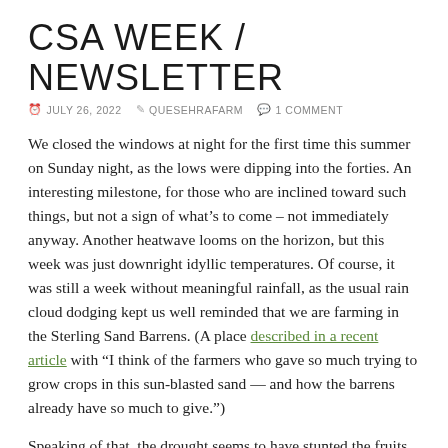CSA WEEK / NEWSLETTER
JULY 26, 2022   QUESEHRAFARM   1 COMMENT
We closed the windows at night for the first time this summer on Sunday night, as the lows were dipping into the forties. An interesting milestone, for those who are inclined toward such things, but not a sign of what’s to come – not immediately anyway. Another heatwave looms on the horizon, but this week was just downright idyllic temperatures. Of course, it was still a week without meaningful rainfall, as the usual rain cloud dodging kept us well reminded that we are farming in the Sterling Sand Barrens. (A place described in a recent article with “I think of the farmers who gave so much trying to grow crops in this sun-blasted sand — and how the barrens already have so much to give.”)
Speaking of that, the drought seems to have stunted the fruits of the wild blackberry bushes, but the earlier-ripening dew